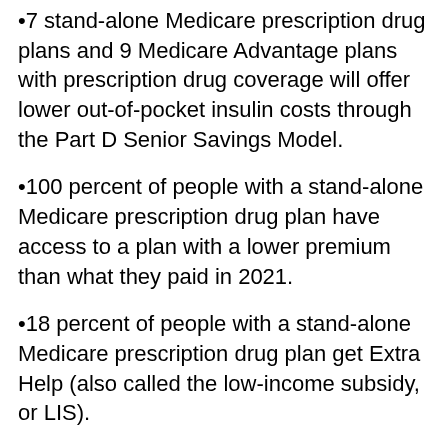•7 stand-alone Medicare prescription drug plans and 9 Medicare Advantage plans with prescription drug coverage will offer lower out-of-pocket insulin costs through the Part D Senior Savings Model.
•100 percent of people with a stand-alone Medicare prescription drug plan have access to a plan with a lower premium than what they paid in 2021.
•18 percent of people with a stand-alone Medicare prescription drug plan get Extra Help (also called the low-income subsidy, or LIS).
•$6.80 is the lowest monthly premium for a stand-alone Medicare prescription drug plan.